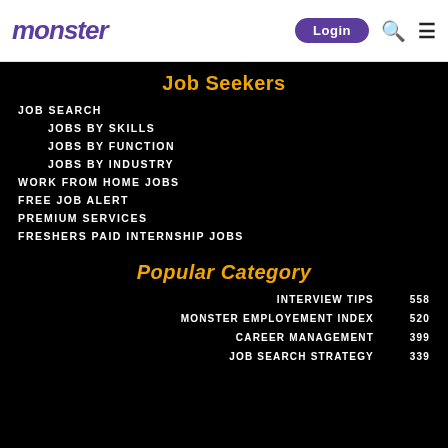monster | Login
Job Seekers
JOB SEARCH
JOBS BY SKILLS
JOBS BY FUNCTION
JOBS BY INDUSTRY
WORK FROM HOME JOBS
FREE JOB ALERT
PREMIUM SERVICES
FRESHERS PAID INTERNSHIP JOBS
Popular Category
INTERVIEW TIPS 558
MONSTER EMPLOYEMENT INDEX 520
CAREER MANAGEMENT 399
JOB SEARCH STRATEGY 339